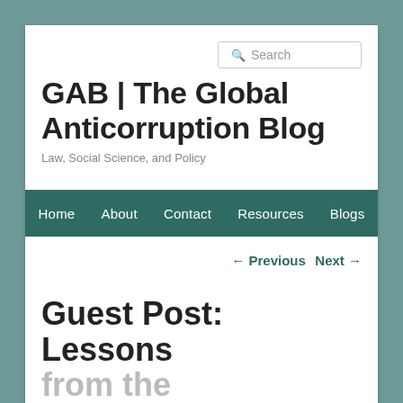GAB | The Global Anticorruption Blog
Law, Social Science, and Policy
Home   About   Contact   Resources   Blogs
← Previous   Next →
Guest Post: Lessons from the Campaign...